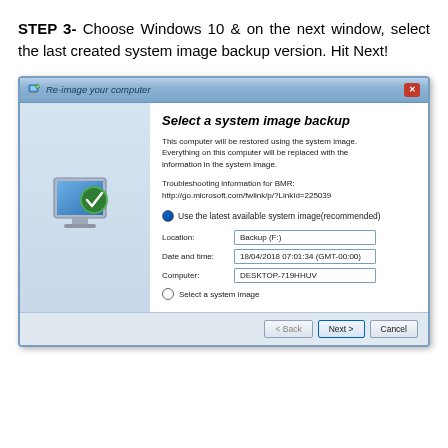STEP 3- Choose Windows 10 & on the next window, select the last created system image backup version. Hit Next!
[Figure (screenshot): Windows 7/10 'Re-image your computer' dialog showing 'Select a system image backup' with fields: Location: Backup (F:), Date and time: 18/04/2018 07:01:34 (GMT-00:00), Computer: DESKTOP-719HHUV. Radio button 'Use the latest available system image (recommended)' is selected. Buttons: Back, Next, Cancel.]